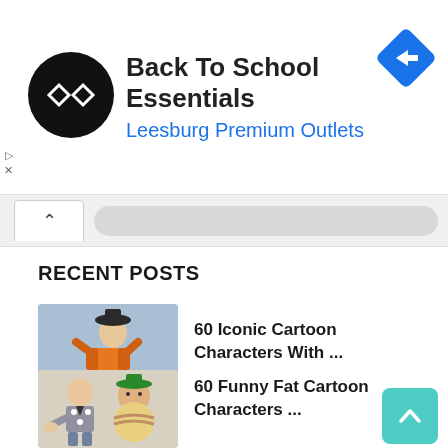[Figure (screenshot): Ad banner for Back To School Essentials at Leesburg Premium Outlets, with black circular logo with double arrow, blue navigation diamond icon on right, and play/close icons on left side]
[Figure (screenshot): Collapsed navigation bar with up-chevron tab button and grey rounded bar]
RECENT POSTS
[Figure (illustration): Thumbnail image of Goofy cartoon character on blue-grey background]
60 Iconic Cartoon Characters With ...
[Figure (illustration): Thumbnail image of Fred Flintstone and Barney Rubble cartoon characters]
60 Funny Fat Cartoon Characters ...